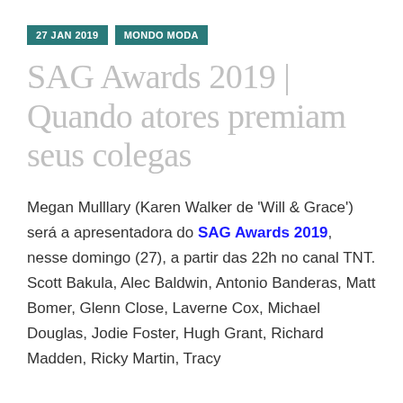27 JAN 2019 | MONDO MODA
SAG Awards 2019 | Quando atores premiam seus colegas
Megan Mulllary (Karen Walker de 'Will & Grace') será a apresentadora do SAG Awards 2019, nesse domingo (27), a partir das 22h no canal TNT. Scott Bakula, Alec Baldwin, Antonio Banderas, Matt Bomer, Glenn Close, Laverne Cox, Michael Douglas, Jodie Foster, Hugh Grant, Richard Madden, Ricky Martin, Tracy